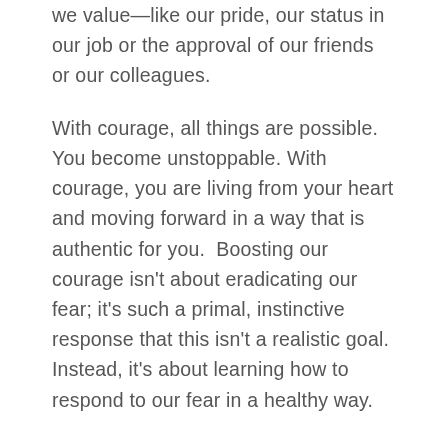we value—like our pride, our status in our job or the approval of our friends or our colleagues.
With courage, all things are possible. You become unstoppable. With courage, you are living from your heart and moving forward in a way that is authentic for you.  Boosting our courage isn't about eradicating our fear; it's such a primal, instinctive response that this isn't a realistic goal. Instead, it's about learning how to respond to our fear in a healthy way.